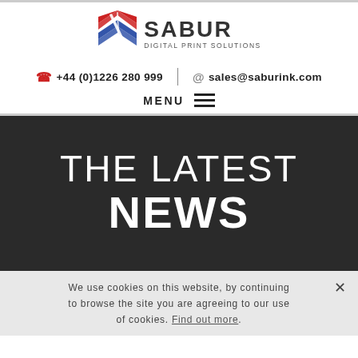[Figure (logo): Sabur Digital Print Solutions logo with stylized red and blue chevron/print icon and company name]
+44 (0)1226 280 999  |  sales@saburink.com
MENU
THE LATEST NEWS
We use cookies on this website, by continuing to browse the site you are agreeing to our use of cookies. Find out more.